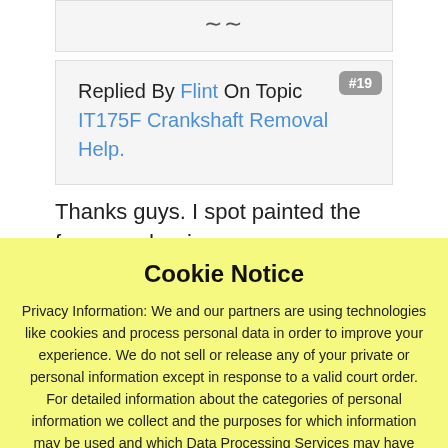[Figure (screenshot): Top portion of a forum page showing a decorative tilde/wave symbol in a light gray box]
Replied By Flint On Topic IT175F Crankshaft Removal Help. #19
Thanks guys. I spot painted the frame and swing
Cookie Notice
Privacy Information: We and our partners are using technologies like cookies and process personal data in order to improve your experience. We do not sell or release any of your private or personal information except in response to a valid court order. For detailed information about the categories of personal information we collect and the purposes for which information may be used and which Data Processing Services may have access to this information please click on 'Privacy Policy".
Privacy Policy   Accept